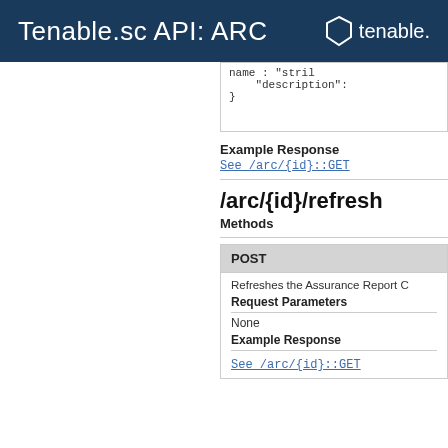Tenable.sc API: ARC
"name": "string",
        "description":
}
Example Response
See /arc/{id}::GET
/arc/{id}/refresh
Methods
POST
Refreshes the Assurance Report C
Request Parameters
None
Example Response
See /arc/{id}::GET